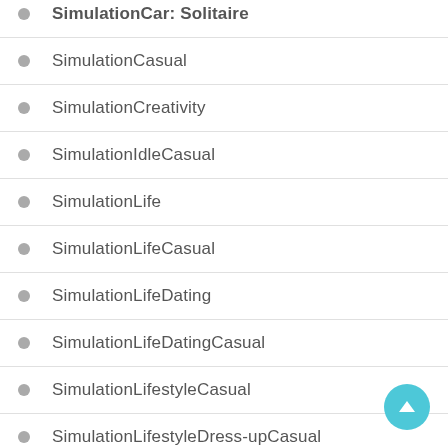SimulationCasual
SimulationCreativity
SimulationIdleCasual
SimulationLife
SimulationLifeCasual
SimulationLifeDating
SimulationLifeDatingCasual
SimulationLifestyleCasual
SimulationLifestyleDress-upCasual